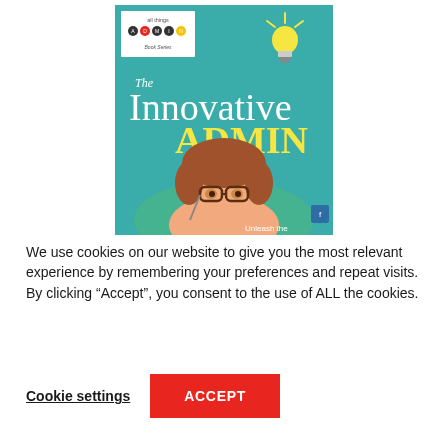[Figure (illustration): Book cover for 'The Innovative Admin' from the All Things Admin Book Series. Teal/turquoise background with a cartoon illustration of a woman with brown hair and glasses. Yellow text reads 'The Innovative Admin' with 'ADMIN' in bold yellow. A glowing lightbulb icon is at the top right. White logo box in top left reads 'all things admin Book Series'. Text at bottom reads 'Unleash the'.]
We use cookies on our website to give you the most relevant experience by remembering your preferences and repeat visits. By clicking “Accept”, you consent to the use of ALL the cookies.
Cookie settings
ACCEPT